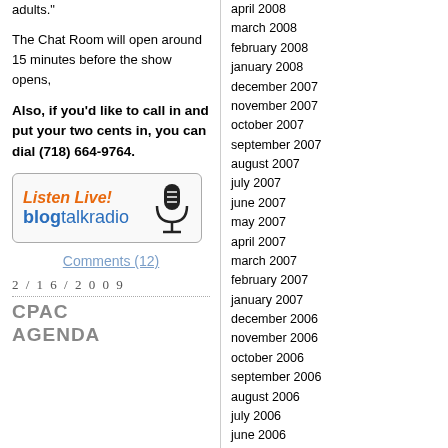adults."
The Chat Room will open around 15 minutes before the show opens,
Also, if you'd like to call in and put your two cents in, you can dial (718) 664-9764.
[Figure (other): Listen Live! blogtalkradio banner with microphone icon]
Comments (12)
2/16/2009
CPAC AGENDA
april 2008
march 2008
february 2008
january 2008
december 2007
november 2007
october 2007
september 2007
august 2007
july 2007
june 2007
may 2007
april 2007
march 2007
february 2007
january 2007
december 2006
november 2006
october 2006
september 2006
august 2006
july 2006
june 2006
may 2006
april 2006
march 2006
february 2006
january 2006
december 2005
november 2005
october 2005
september 2005
august 2005